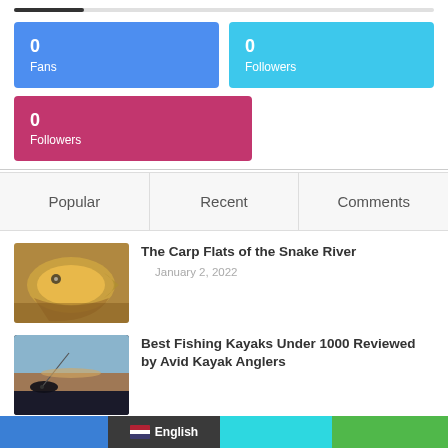[Figure (infographic): Blue stat card showing 0 Fans]
[Figure (infographic): Cyan stat card showing 0 Followers]
[Figure (infographic): Pink stat card showing 0 Followers]
Popular
Recent
Comments
[Figure (photo): Close-up photo of a carp fish being held]
The Carp Flats of the Snake River
January 2, 2022
[Figure (photo): Silhouette of a person kayak fishing at sunset]
Best Fishing Kayaks Under 1000 Reviewed by Avid Kayak Anglers
English